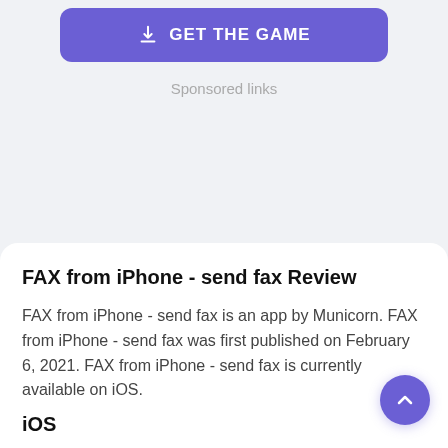[Figure (other): Purple button with download icon and text GET THE GAME]
Sponsored links
FAX from iPhone - send fax Review
FAX from iPhone - send fax is an app by Municorn. FAX from iPhone - send fax was first published on February 6, 2021. FAX from iPhone - send fax is currently available on iOS.
iOS